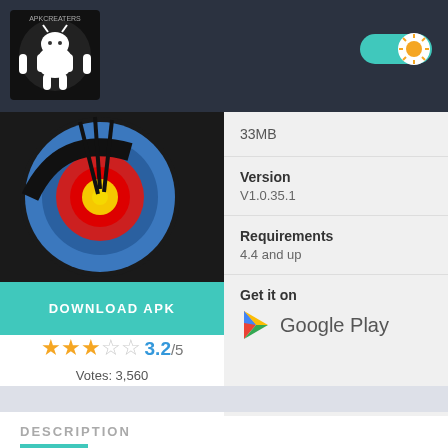[Figure (logo): APKCreaters logo — circular Android robot icon with text around edge on black background]
[Figure (illustration): Toggle switch icon (sun/light mode) — teal toggle with sun icon, white background circle]
[Figure (photo): Archery target with arrows — colorful concentric circles (yellow, red, blue, black) with arrows]
DOWNLOAD APK
3.2/5
Votes: 3,560
Report
33MB
Version
V1.0.35.1
Requirements
4.4 and up
Get it on
Google Play
DESCRIPTION